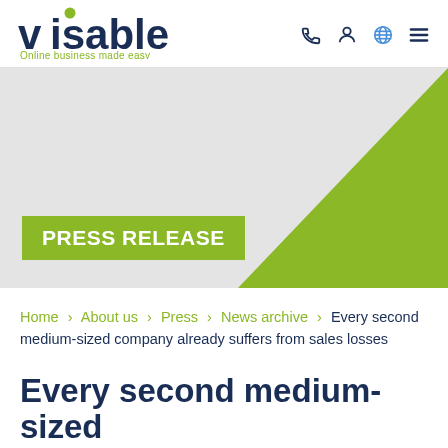visable — Online business made easy
[Figure (illustration): Visable company logo with green dot above the v, and tagline 'Online business made easy' in green below]
PRESS RELEASE
Home > About us > Press > News archive > Every second medium-sized company already suffers from sales losses
Every second medium-sized